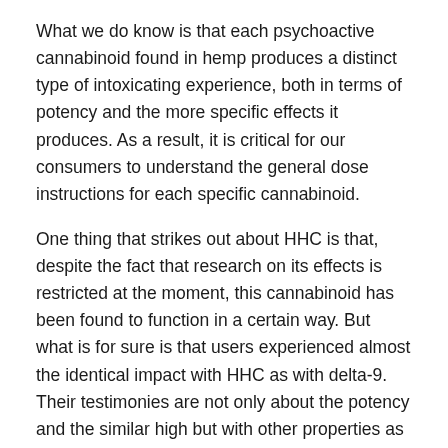What we do know is that each psychoactive cannabinoid found in hemp produces a distinct type of intoxicating experience, both in terms of potency and the more specific effects it produces. As a result, it is critical for our consumers to understand the general dose instructions for each specific cannabinoid.
One thing that strikes out about HHC is that, despite the fact that research on its effects is restricted at the moment, this cannabinoid has been found to function in a certain way. But what is for sure is that users experienced almost the identical impact with HHC as with delta-9. Their testimonies are not only about the potency and the similar high but with other properties as well. So, what should you do to stay on the safe side of the road?
What Exactly Is HHC?